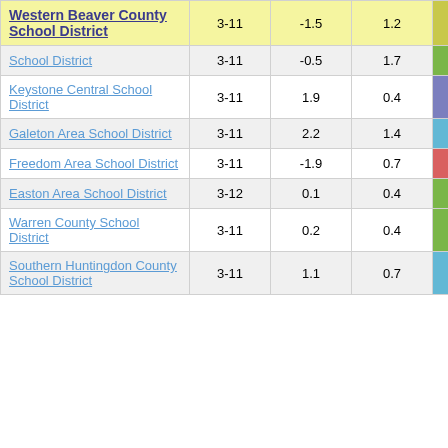| District | Grades | Col1 | Col2 | Score |
| --- | --- | --- | --- | --- |
| Western Beaver County School District | 3-11 | -1.5 | 1.2 | -1.25 |
| School District | 3-11 | -0.5 | 1.7 | -0.30 |
| Keystone Central School District | 3-11 | 1.9 | 0.4 | 4.90 |
| Galeton Area School District | 3-11 | 2.2 | 1.4 | 1.61 |
| Freedom Area School District | 3-11 | -1.9 | 0.7 | -2.80 |
| Easton Area School District | 3-12 | 0.1 | 0.4 | 0.32 |
| Warren County School District | 3-11 | 0.2 | 0.4 | 0.41 |
| Southern Huntingdon County School District | 3-11 | 1.1 | 0.7 | 1.58 |